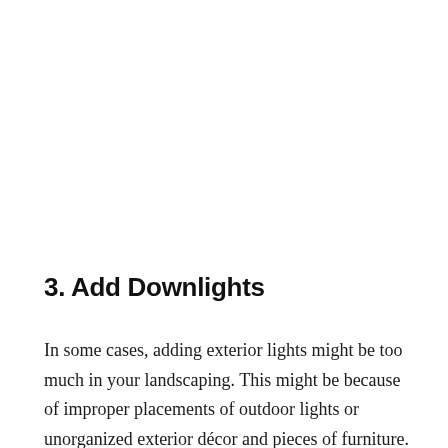3. Add Downlights
In some cases, adding exterior lights might be too much in your landscaping. This might be because of improper placements of outdoor lights or unorganized exterior décor and pieces of furniture. However, such instances can be resolved if you'll learn a thing or two about proper